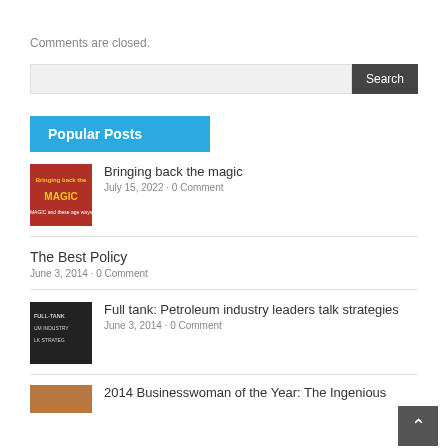Comments are closed.
Search
Popular Posts
Bringing back the magic
July 15, 2022 · 0 Comment
The Best Policy
June 3, 2014 · 0 Comment
Full tank: Petroleum industry leaders talk strategies
June 3, 2014 · 0 Comment
2014 Businesswoman of the Year: The Ingenious